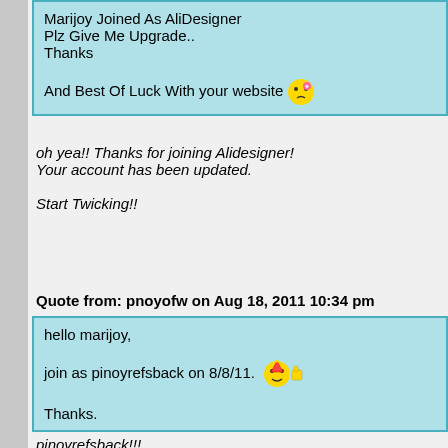Marijoy Joined As AliDesigner
Plz Give Me Upgrade..
Thanks

And Best Of Luck With your website 😘
oh yea!! Thanks for joining Alidesigner!
Your account has been updated.

Start Twicking!!
Quote from: pnoyofw on Aug 18, 2011 10:34 pm
hello marijoy,

join as pinoyrefsback on 8/8/11. 🤗

Thanks.
pinoyrefsback!!!
Your account has been updated as well!